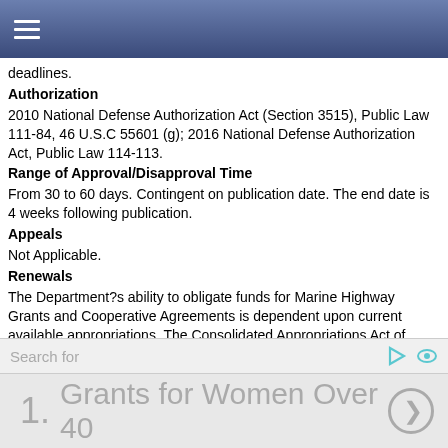≡
deadlines.
Authorization
2010 National Defense Authorization Act (Section 3515), Public Law 111-84, 46 U.S.C 55601 (g); 2016 National Defense Authorization Act, Public Law 114-113.
Range of Approval/Disapproval Time
From 30 to 60 days. Contingent on publication date. The end date is 4 weeks following publication.
Appeals
Not Applicable.
Renewals
The Department?s ability to obligate funds for Marine Highway Grants and Cooperative Agreements is dependent upon current available appropriations. The Consolidated Appropriations Act of 2016 (Public Law 114-113) signed by the President on December 18, 2015 appropriated $5,000,000 for the Short Sea Transportation Program.
Assistance Considerations
Formula and Matching Requirements
Statutory Formula: Public Law 114-113. Matching Requirements: Percent: